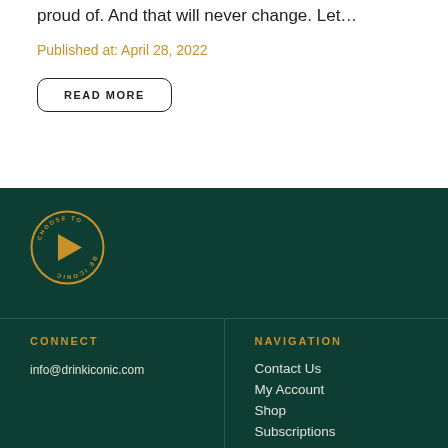proud of. And that will never change. Let…
Published at: April 28, 2022
READ MORE
[Figure (logo): Choose To Be Iconic circular logo with gold arrow pointing right in center, gold text around circle border on dark green background]
CONNECT
info@drinkiconic.com
NAVIGATION
Contact Us
My Account
Shop
Subscriptions